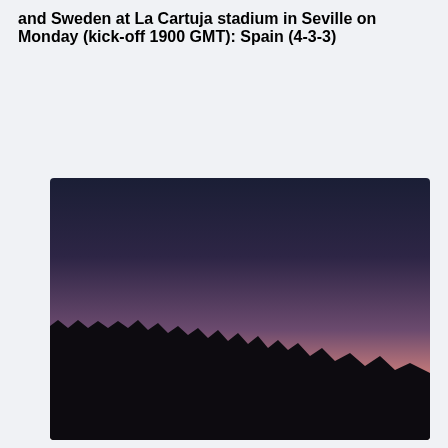and Sweden at La Cartuja stadium in Seville on Monday (kick-off 1900 GMT): Spain (4-3-3)
[Figure (photo): A twilight/dusk landscape photo showing a mountain range silhouetted in dark black against a gradient sky. The sky transitions from deep dark blue-navy at the top through purple to a warm pinkish-peach glow near the horizon.]